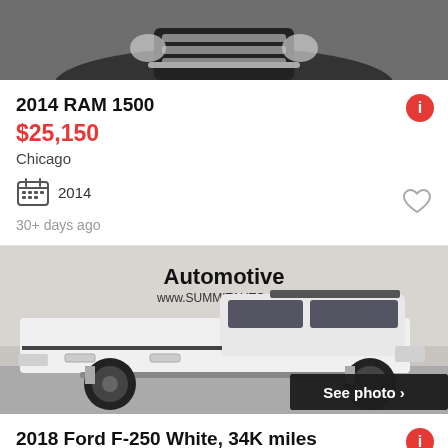[Figure (photo): Partial photo of a dark-colored RAM 1500 truck front grille, cropped at top of page]
2014 RAM 1500
$25,150
Chicago
2014
30+ days ago
[Figure (photo): Side profile photo of a white lifted 2018 Ford F-250 truck with black rims, at a dealership (Summit Automotive, www.SUMMITAUTO.com). A 'See photo >' badge is overlaid at bottom right.]
2018 Ford F-250 White, 34K miles